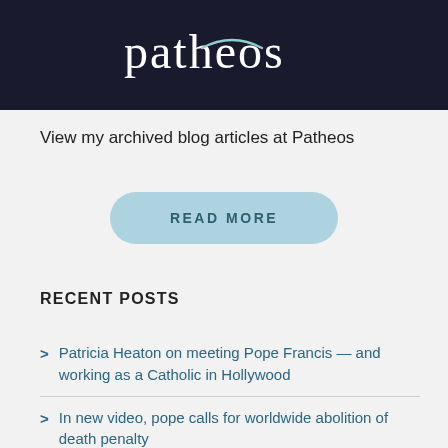[Figure (logo): Patheos logo in white text on dark background with teal swoosh]
View my archived blog articles at Patheos
READ MORE
RECENT POSTS
Patricia Heaton on meeting Pope Francis — and working as a Catholic in Hollywood
In new video, pope calls for worldwide abolition of death penalty